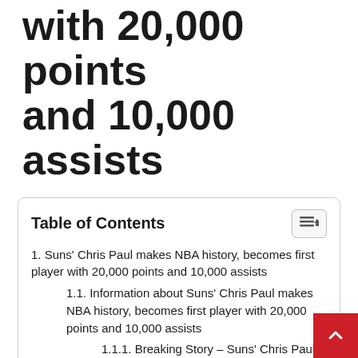with 20,000 points and 10,000 assists
1. Suns' Chris Paul makes NBA history, becomes first player with 20,000 points and 10,000 assists
1.1. Information about Suns' Chris Paul makes NBA history, becomes first player with 20,000 points and 10,000 assists
1.1.1. Breaking Story – Suns' Chris Paul makes NBA history, becomes first player with 20,000 points and 10,000 assists
Information about